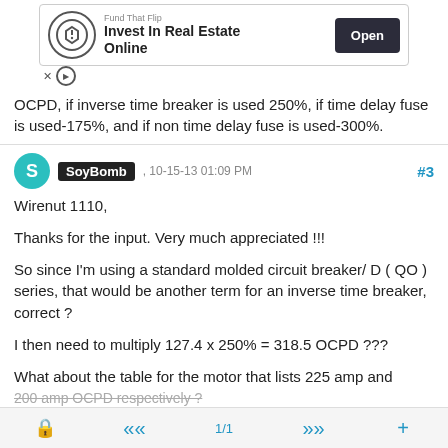[Figure (other): Advertisement banner: Fund That Flip - Invest In Real Estate Online, with Open button]
OCPD, if inverse time breaker is used 250%, if time delay fuse is used-175%, and if non time delay fuse is used-300%.
SoyBomb , 10-15-13 01:09 PM #3
Wirenut 1110,

Thanks for the input. Very much appreciated !!!

So since I'm using a standard molded circuit breaker/ D ( QO ) series, that would be another term for an inverse time breaker, correct ?

I then need to multiply 127.4 x 250% = 318.5 OCPD ???

What about the table for the motor that lists 225 amp and 200 amp OCPD respectively ?
🔒   «   1/1   »   +